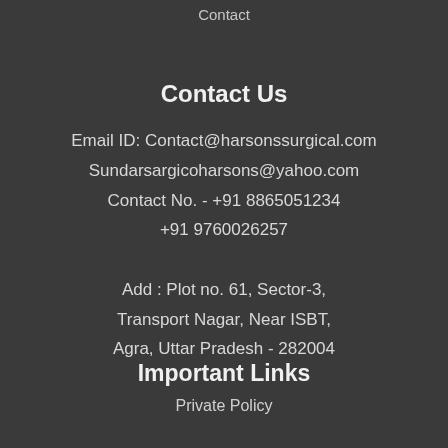Contact
Contact Us
Email ID: Contact@harsonssurgical.com
Sundarsargicoharsons@yahoo.com
Contact No. - +91 8865051234
+91 9760026257
Add : Plot no. 61, Sector-3, Transport Nagar, Near ISBT, Agra, Uttar Pradesh - 282004
Important Links
Private Policy